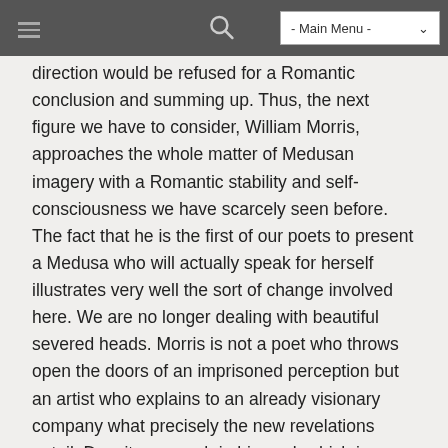- Main Menu -
direction would be refused for a Romantic conclusion and summing up. Thus, the next figure we have to consider, William Morris, approaches the whole matter of Medusan imagery with a Romantic stability and self-consciousness we have scarcely seen before. The fact that he is the first of our poets to present a Medusa who will actually speak for herself illustrates very well the sort of change involved here. We are no longer dealing with beautiful severed heads. Morris is not a poet who throws open the doors of an imprisoned perception but an artist who explains to an already visionary company what precisely the new revelations entail. Despite so much in his work which is fantastic, even surreal, his is a Romanticism not of surprise, but of calculation.
III